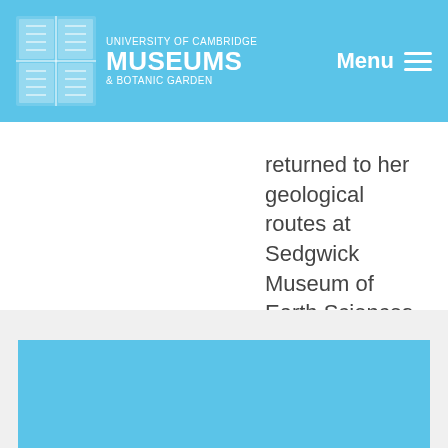University of Cambridge Museums & Botanic Garden — Menu
returned to her geological routes at Sedgwick Museum of Earth Sciences where she now runs the education offer for school groups.
[Figure (photo): Large light blue rectangular area, likely an image placeholder or photograph with a sky-blue background]